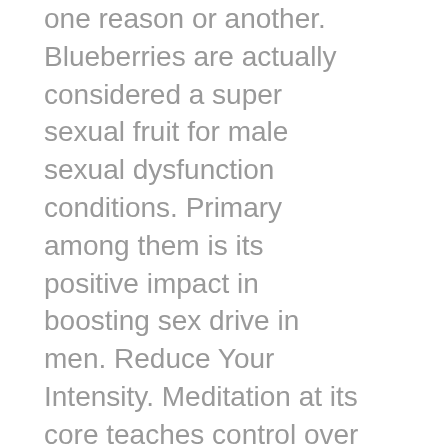one reason or another. Blueberries are actually considered a super sexual fruit for male sexual dysfunction conditions. Primary among them is its positive impact in boosting sex drive in men. Reduce Your Intensity. Meditation at its core teaches control over the mind, responsible for a significant portion of the premature ejaculation problem in the first place. Apart from these facts, Avocado can also give you long lasting endurance for those all-night marathon sessions! Exercised such as